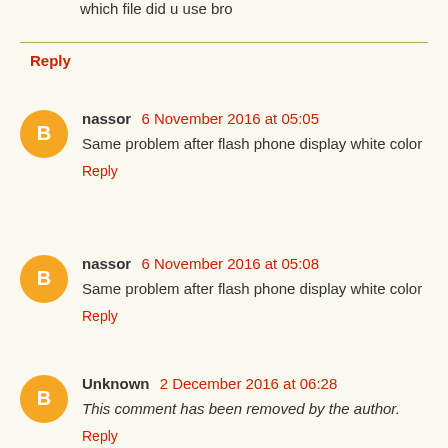which file did u use bro
Reply
nassor 6 November 2016 at 05:05
Same problem after flash phone display white color
Reply
nassor 6 November 2016 at 05:08
Same problem after flash phone display white color
Reply
Unknown 2 December 2016 at 06:28
This comment has been removed by the author.
Reply